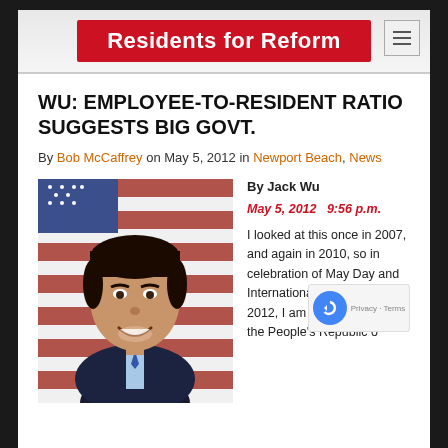[Figure (logo): Residents for Reform website header banner with red background and white bold text]
WU: EMPLOYEE-TO-RESIDENT RATIO SUGGESTS BIG GOVT.
By Bob McCaffrey on May 5, 2012 in Newport Beach, News
[Figure (photo): Headshot of a young Asian man smiling, wearing a suit, in front of an American flag]
By Jack Wu
May 5, 2012   9:56 p.m.
I looked at this once in 2007, and again in 2010, so in celebration of May Day and International Workers' 2012, I am going to cele the People's Republic o